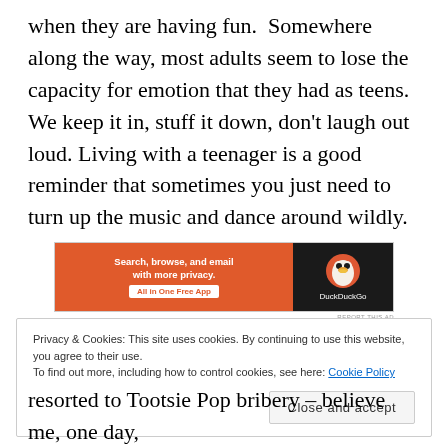when they are having fun.  Somewhere along the way, most adults seem to lose the capacity for emotion that they had as teens.  We keep it in, stuff it down, don't laugh out loud. Living with a teenager is a good reminder that sometimes you just need to turn up the music and dance around wildly.
[Figure (other): DuckDuckGo advertisement banner: orange left panel with text 'Search, browse, and email with more privacy. All in One Free App' and dark right panel with DuckDuckGo logo and brand name.]
Privacy & Cookies: This site uses cookies. By continuing to use this website, you agree to their use.
To find out more, including how to control cookies, see here: Cookie Policy

Close and accept
resorted to Tootsie Pop bribery – believe me, one day,